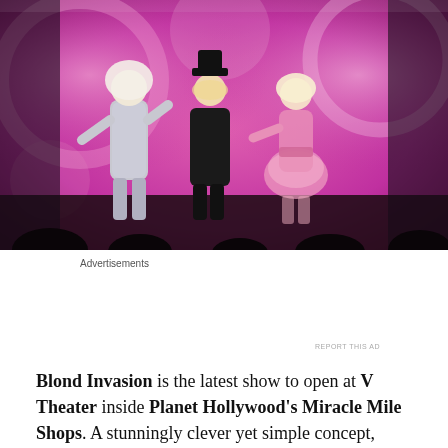[Figure (photo): Three performers on a stage with a pink and purple swirling background. Left performer wears a silver/white sparkly bodysuit with white hair. Center performer wears a black hat and black outfit. Right performer wears a pink feathery dress with blonde hair.]
Advertisements
[Figure (other): Advertisement banner for WordPress Hosting. Dark navy background with white P logo box on left. Text reads: WORDPRESS HOSTING THAT MEANS BUSINESS. Right side shows a photo of an OPEN sign.]
REPORT THIS AD
Blond Invasion is the latest show to open at V Theater inside Planet Hollywood's Miracle Mile Shops. A stunningly clever yet simple concept, Blond Invasion is a beautifully